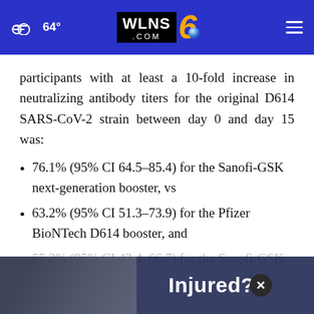WLNS 6 .com — 64°
participants with at least a 10-fold increase in neutralizing antibody titers for the original D614 SARS-CoV-2 strain between day 0 and day 15 was:
76.1% (95% CI 64.5–85.4) for the Sanofi-GSK next-generation booster, vs
63.2% (95% CI 51.3–73.9) for the Pfizer BioNTech D614 booster, and
55.3% (95% CI 43.4–66.7) for the Sanofi-GSK
[Figure (screenshot): Advertisement banner at the bottom of the page reading 'Injured?' with a dark blue overlay and a close (×) button, over a photo of people.]